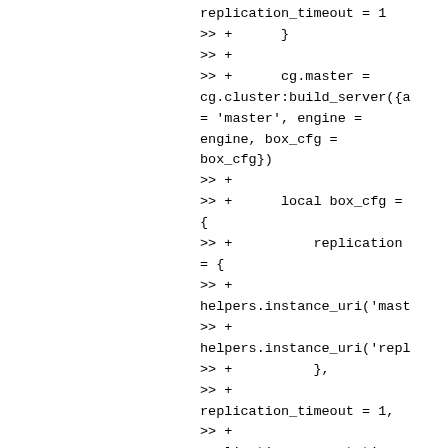replication_timeout = 1
>> +      }
>> +
>> +      cg.master =
cg.cluster:build_server({a
= 'master', engine =
engine, box_cfg =
box_cfg})
>> +
>> +      local box_cfg =
{
>> +          replication
= {
>> +
helpers.instance_uri('mast
>> +
helpers.instance_uri('repl
>> +          },
>> +
replication_timeout = 1,
>> +
replication_connect_timeou
= 4,
>> +          read_only
= true,
>> +
replication_anon      =
true
>> +      }
>> +